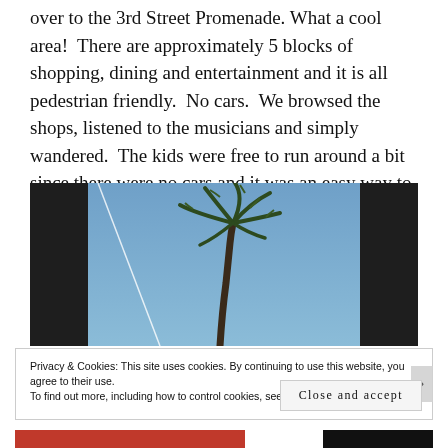over to the 3rd Street Promenade. What a cool area!  There are approximately 5 blocks of shopping, dining and entertainment and it is all pedestrian friendly.  No cars.  We browsed the shops, listened to the musicians and simply wandered.  The kids were free to run around a bit since there were no cars and it was an easy way to burn off some energy before dinner.
[Figure (photo): Upward-looking photo of a palm tree against a blue sky with dark architectural columns/structures on the sides]
Privacy & Cookies: This site uses cookies. By continuing to use this website, you agree to their use.
To find out more, including how to control cookies, see here: Cookie Policy
Close and accept